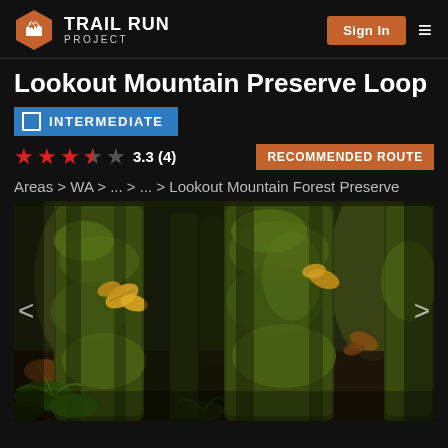Trail Run Project
Lookout Mountain Preserve Loop
INTERMEDIATE
★★★☆☆ 3.3 (4)  RECOMMENDED ROUTE
Areas > WA > ... > ... > Lookout Mountain Forest Preserve
[Figure (photo): Moss-covered tree trunks in a dense forest with autumn leaves scattered on the bark, photographed in Lookout Mountain Forest Preserve, Washington.]